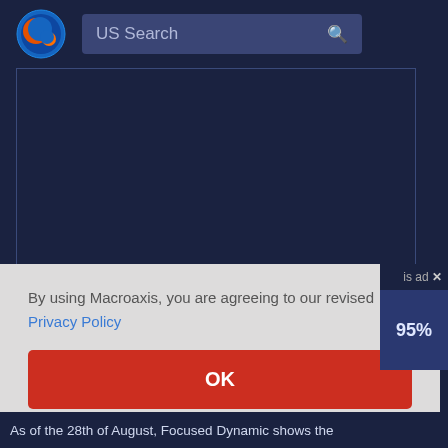[Figure (logo): Macroaxis globe logo — blue circle with orange and dark blue design]
US Search
[Figure (screenshot): Dark navy background main content area with border]
By using Macroaxis, you are agreeing to our revised Privacy Policy
OK
is ad ×
95%
As of the 28th of August, Focused Dynamic shows the